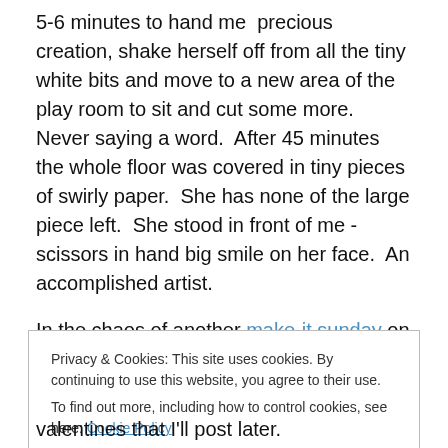5-6 minutes to hand me  precious creation, shake herself off from all the tiny white bits and move to a new area of the play room to sit and cut some more.  Never saying a word.  After 45 minutes the whole floor was covered in tiny pieces of swirly paper.  She has none of the large piece left.  She stood in front of me -scissors in hand big smile on her face.  An accomplished artist.
In the chaos of another make-it sunday on top of lots of work and crazy (fun) kiddos – it was really nice today to hear Matty humming his way through a one-man soccer
Privacy & Cookies: This site uses cookies. By continuing to use this website, you agree to their use.
To find out more, including how to control cookies, see here: Cookie Policy
valentines that I'll post later.